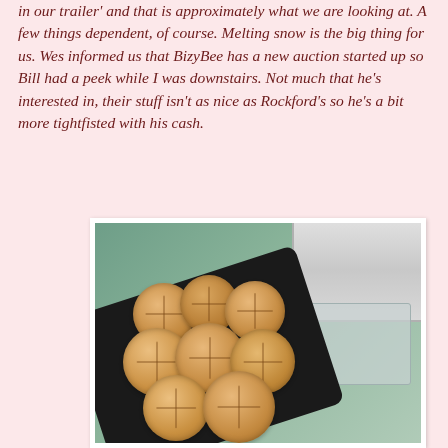in our trailer' and that is approximately what we are looking at. A few things dependent, of course. Melting snow is the big thing for us. Wes informed us that BizyBee has a new auction started up so Bill had a peek while I was downstairs. Not much that he's interested in, their stuff isn't as nice as Rockford's so he's a bit more tightfisted with his cash.
[Figure (photo): A black plastic tray filled with peanut butter cookies (round, cross-hatched pattern), set on a kitchen counter with white/clear plastic containers visible in the background.]